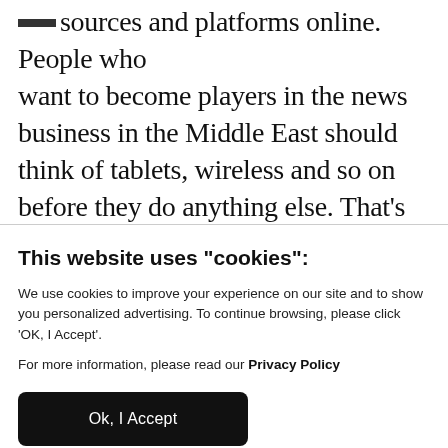sources and platforms online. People who want to become players in the news business in the Middle East should think of tablets, wireless and so on before they do anything else. That's the platform on which they should be creating their ideas. I think there is a very strong opportunity because print is not aggressively competitive in the Middle East, and there's profitability f...
This website uses "cookies":
We use cookies to improve your experience on our site and to show you personalized advertising. To continue browsing, please click 'OK, I Accept'.
For more information, please read our Privacy Policy
Ok, I Accept